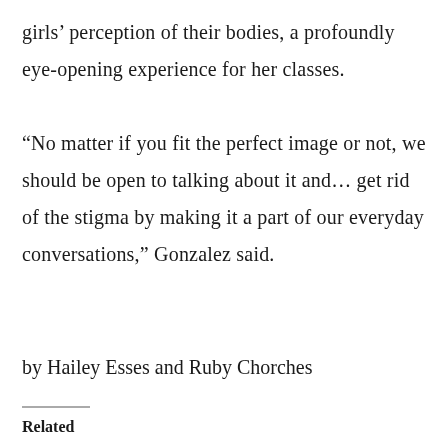girls' perception of their bodies, a profoundly eye-opening experience for her classes.

“No matter if you fit the perfect image or not, we should be open to talking about it and… get rid of the stigma by making it a part of our everyday conversations,” Gonzalez said.
by Hailey Esses and Ruby Chorches
Related